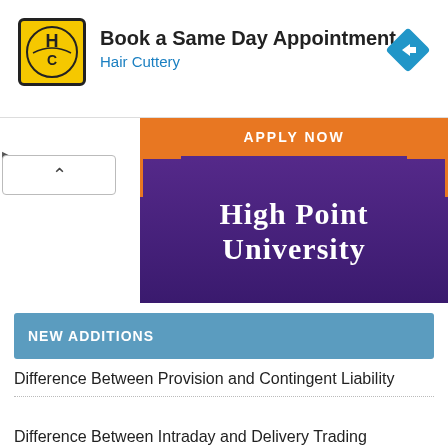[Figure (screenshot): Hair Cuttery ad banner with yellow/black HC logo, 'Book a Same Day Appointment' headline, and blue navigation arrow icon]
[Figure (screenshot): High Point University advertisement banner with purple gradient background, orange 'APPLY NOW' bar at top, and white serif 'HIGH POINT UNIVERSITY' text]
NEW ADDITIONS
Difference Between Provision and Contingent Liability
Difference Between Intraday and Delivery Trading